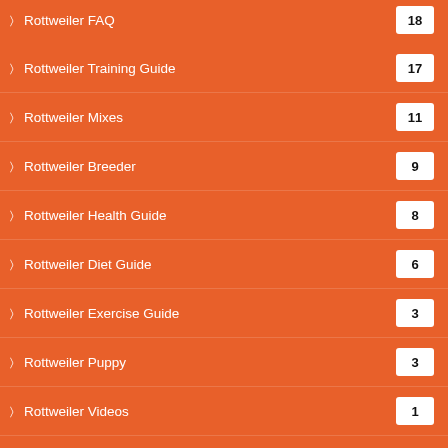Rottweiler FAQ 18
Rottweiler Training Guide 17
Rottweiler Mixes 11
Rottweiler Breeder 9
Rottweiler Health Guide 8
Rottweiler Diet Guide 6
Rottweiler Exercise Guide 3
Rottweiler Puppy 3
Rottweiler Videos 1
© 2022| RottweilerTime.com | All Rights Reserved
Blog  Privacy Policy  Disclaimer  About Us